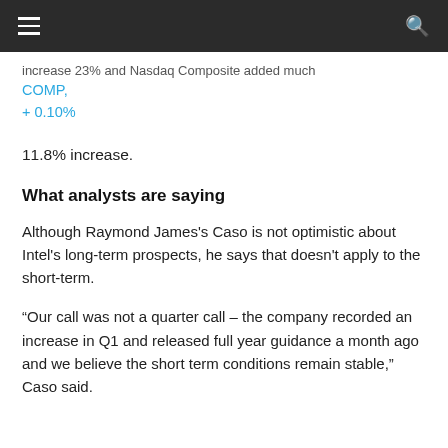increase 23% and Nasdaq Composite added much COMP, + 0.10%
11.8% increase.
What analysts are saying
Although Raymond James's Caso is not optimistic about Intel's long-term prospects, he says that doesn't apply to the short-term.
“Our call was not a quarter call – the company recorded an increase in Q1 and released full year guidance a month ago and we believe the short term conditions remain stable,” Caso said.